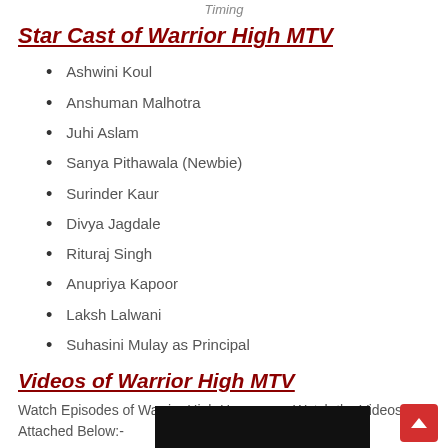Timing
Star Cast of Warrior High MTV
Ashwini Koul
Anshuman Malhotra
Juhi Aslam
Sanya Pithawala (Newbie)
Surinder Kaur
Divya Jagdale
Rituraj Singh
Anupriya Kapoor
Laksh Lalwani
Suhasini Mulay as Principal
Videos  of Warrior High MTV
Watch Episodes of Warrior High Here...........Watch the Videos Attached Below:-
[Figure (screenshot): Black video thumbnail at the bottom of the page]